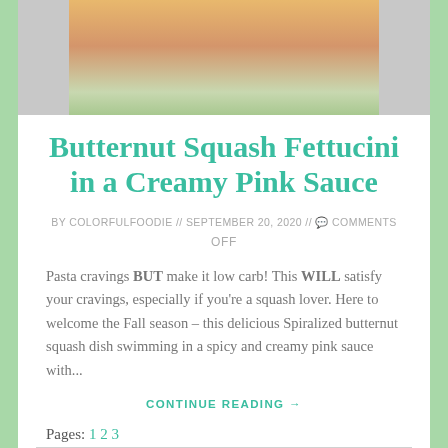[Figure (photo): Top portion of a food photo showing spiralized butternut squash fettucini dish with sauce]
Butternut Squash Fettucini in a Creamy Pink Sauce
BY COLORFULFOODIE // SEPTEMBER 20, 2020 // 💬 COMMENTS
OFF
Pasta cravings BUT make it low carb! This WILL satisfy your cravings, especially if you're a squash lover. Here to welcome the Fall season – this delicious Spiralized butternut squash dish swimming in a spicy and creamy pink sauce with...
CONTINUE READING →
Pages: 1 2 3